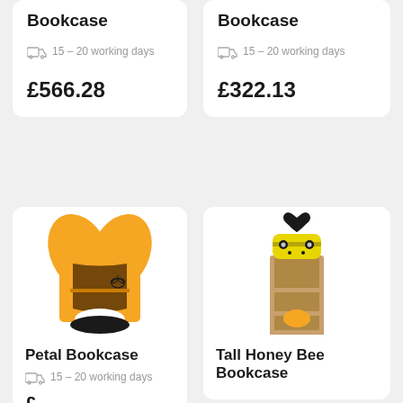Bookcase
15 – 20 working days
£566.28
Bookcase
15 – 20 working days
£322.13
[Figure (photo): Petal Bookcase - orange flower-shaped bookcase with bee design]
Petal Bookcase
15 – 20 working days
[Figure (photo): Tall Honey Bee Bookcase - tall wooden bookcase with yellow bee character topper and black heart]
Tall Honey Bee Bookcase